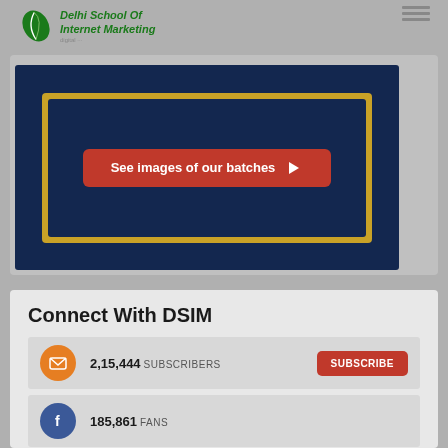[Figure (logo): Delhi School of Internet Marketing logo with feather/leaf icon in green]
[Figure (screenshot): Dark navy blue card with gold border containing a red button reading 'See images of our batches' with arrow]
Connect With DSIM
2,15,444 SUBSCRIBERS — SUBSCRIBE button
185,861 FANS